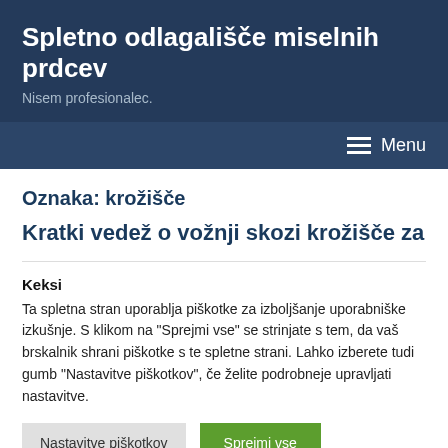Spletno odlagališče miselnih prdcev
Nisem profesionalec.
Menu
Oznaka: krožišče
Kratki vedež o vožnji skozi krožišče za
Keksi
Ta spletna stran uporablja piškotke za izboljšanje uporabniške izkušnje. S klikom na "Sprejmi vse" se strinjate s tem, da vaš brskalnik shrani piškotke s te spletne strani. Lahko izberete tudi gumb "Nastavitve piškotkov", če želite podrobneje upravljati nastavitve.
Nastavitve piškotkov
Sprejmi vse